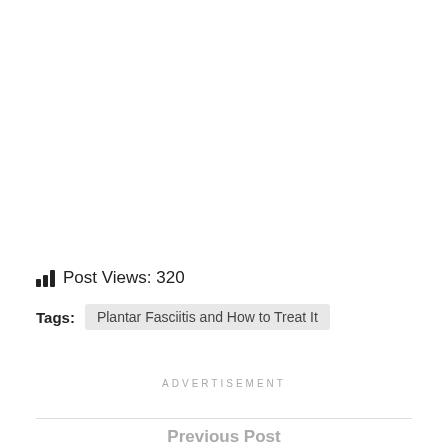Post Views: 320
Tags: Plantar Fasciitis and How to Treat It
ADVERTISEMENT
Previous Post